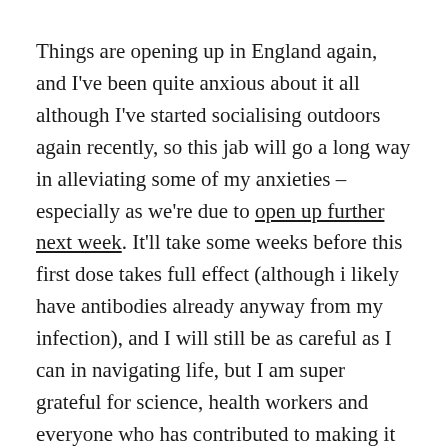Things are opening up in England again, and I've been quite anxious about it all although I've started socialising outdoors again recently, so this jab will go a long way in alleviating some of my anxieties – especially as we're due to open up further next week. It'll take some weeks before this first dose takes full effect (although i likely have antibodies already anyway from my infection), and I will still be as careful as I can in navigating life, but I am super grateful for science, health workers and everyone who has contributed to making it all a bit safer for us again.